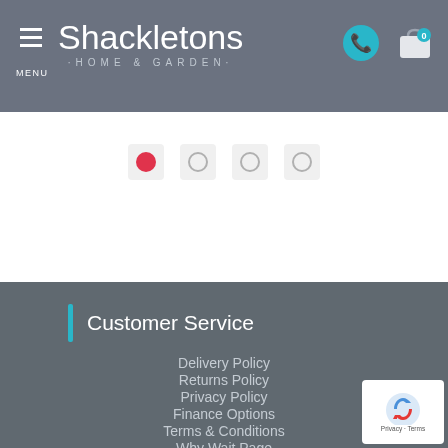Shackletons HOME & GARDEN — MENU
[Figure (screenshot): Slider dot navigation: one filled red dot and three empty circles]
Customer Service
Delivery Policy
Returns Policy
Privacy Policy
Finance Options
Terms & Conditions
Why Wait Page
Blogs
FAQ